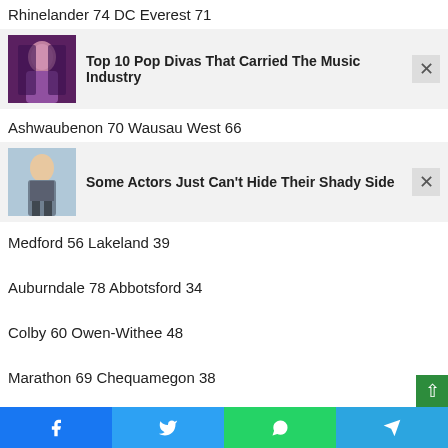Rhinelander 74 DC Everest 71
[Figure (infographic): Ad card with woman singing, purple hair, text: Top 10 Pop Divas That Carried The Music Industry]
Ashwaubenon 70 Wausau West 66
[Figure (infographic): Ad card with man in suit posing, text: Some Actors Just Can't Hide Their Shady Side]
Medford 56 Lakeland 39
Auburndale 78 Abbotsford 34
Colby 60 Owen-Withee 48
Marathon 69 Chequamegon 38
Stratford 67 Prentice 44